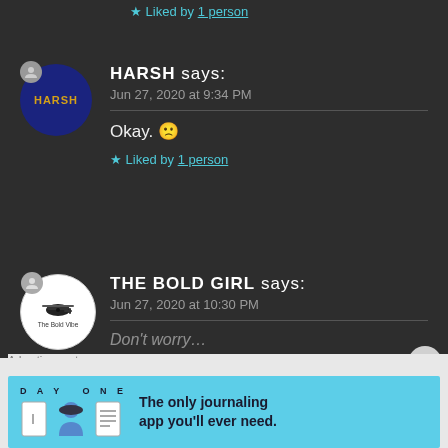★ Liked by 1 person
HARSH says:
Jun 27, 2020 at 9:34 PM
Okay. 🙁
★ Liked by 1 person
THE BOLD GIRL says:
Jun 27, 2020 at 10:30 PM
Advertisements
[Figure (screenshot): DAY ONE app advertisement: The only journaling app you'll ever need.]